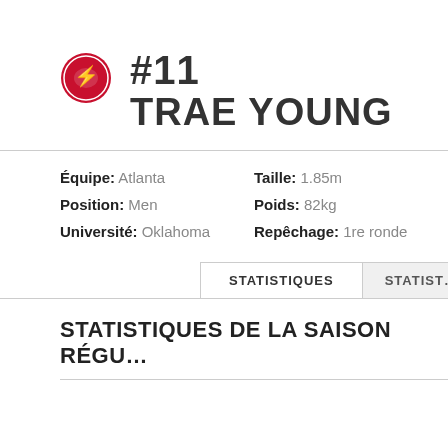[Figure (logo): Atlanta Hawks team logo — circular red badge with hawk illustration]
#11 TRAE YOUNG
Équipe: Atlanta   Taille: 1.85m
Position: Men   Poids: 82kg
Université: Oklahoma   Repêchage: 1re ronde
STATISTIQUES DE LA SAISON RÉGU…